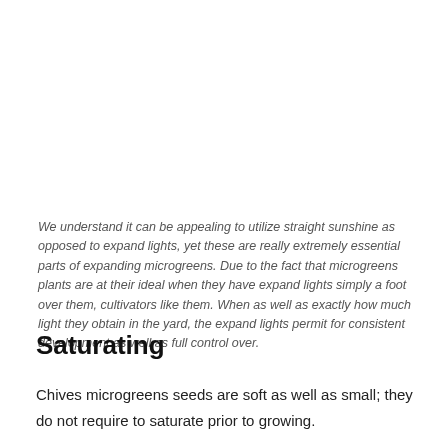We understand it can be appealing to utilize straight sunshine as opposed to expand lights, yet these are really extremely essential parts of expanding microgreens. Due to the fact that microgreens plants are at their ideal when they have expand lights simply a foot over them, cultivators like them. When as well as exactly how much light they obtain in the yard, the expand lights permit for consistent development as well as full control over.
Saturating
Chives microgreens seeds are soft as well as small; they do not require to saturate prior to growing.